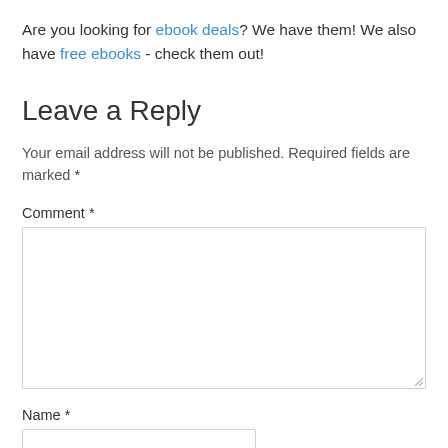Are you looking for ebook deals? We have them! We also have free ebooks - check them out!
Leave a Reply
Your email address will not be published. Required fields are marked *
Comment *
Name *